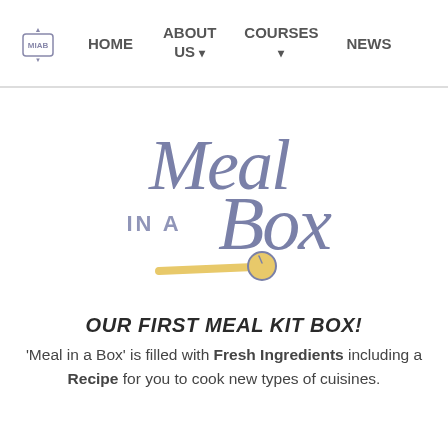HOME   ABOUT US ▾   COURSES ▾   NEWS
[Figure (logo): Meal in a Box logo — cursive script text reading 'Meal in a Box' in muted purple/slate blue with a decorative spoon element in yellow/gold underneath]
OUR FIRST MEAL KIT BOX!
'Meal in a Box' is filled with Fresh Ingredients including a Recipe for you to cook new types of cuisines.